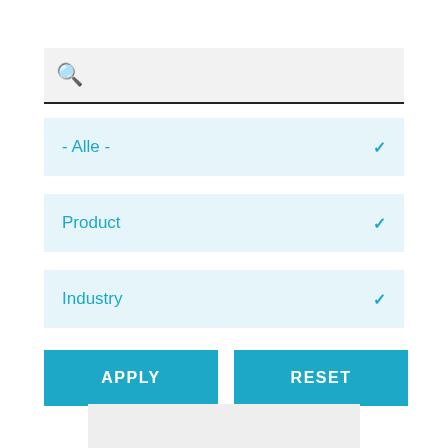[Figure (screenshot): Search input box with magnifying glass icon on light gray background with dark bottom border]
- Alle -
Product
Industry
APPLY
RESET